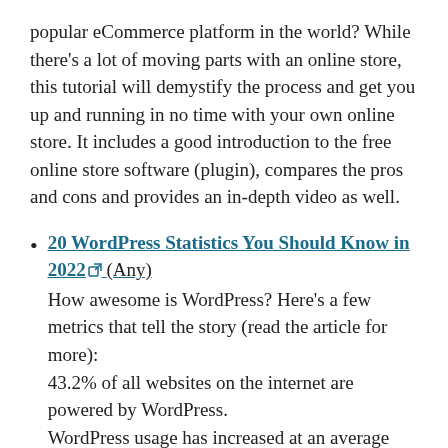popular eCommerce platform in the world? While there's a lot of moving parts with an online store, this tutorial will demystify the process and get you up and running in no time with your own online store. It includes a good introduction to the free online store software (plugin), compares the pros and cons and provides an in-depth video as well.
20 WordPress Statistics You Should Know in 2022 [external link] (Any)
How awesome is WordPress? Here's a few metrics that tell the story (read the article for more): 43.2% of all websites on the internet are powered by WordPress. WordPress usage has increased at an average rate of 12% per year since 2011. 36.28% of the top 1 million websites are powered by WordPress. 59,825 free plugins are on the WordPress plugin